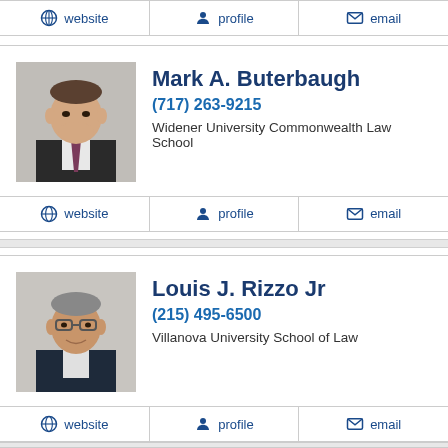website  profile  email
[Figure (photo): Professional headshot of Mark A. Buterbaugh in dark suit]
Mark A. Buterbaugh
(717) 263-9215
Widener University Commonwealth Law School
website  profile  email
[Figure (photo): Professional headshot of Louis J. Rizzo Jr in dark suit with glasses]
Louis J. Rizzo Jr
(215) 495-6500
Villanova University School of Law
website  profile  email